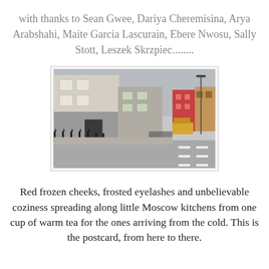with thanks to Sean Gwee, Dariya Cheremisina, Arya Arabshahi, Maite Garcia Lascurain, Ebere Nwosu, Sally Stott, Leszek Skrzpiec........
[Figure (photo): Street scene showing urban buildings including a pink/red building on the right, black iron fence railings in the foreground, parked bicycles, and a road with white dashed lane markings. Grey overcast daylight.]
Red frozen cheeks, frosted eyelashes and unbelievable coziness spreading along little Moscow kitchens from one cup of warm tea for the ones arriving from the cold. This is the postcard, from here to there.